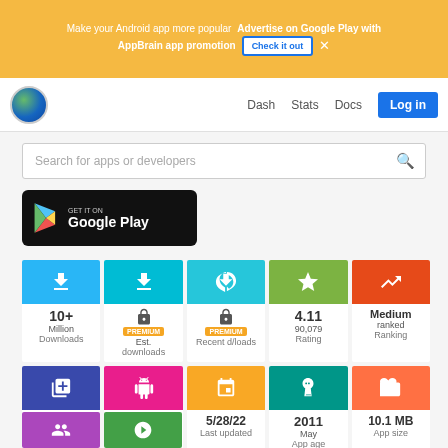[Figure (screenshot): Ad banner: Make your Android app more popular. Advertise on Google Play with AppBrain app promotion. Check it out button. X close.]
Dash  Stats  Docs  Log in
[Figure (screenshot): Search bar: Search for apps or developers]
[Figure (logo): GET IT ON Google Play badge]
| 10+ Million Downloads | PREMIUM Est. downloads | PREMIUM Recent d/loads | 4.11 90,079 Rating | Medium ranked Ranking |
| 24 Libraries | 5.0+ Android version | 5/28/22 Last updated | 2011 May App age | 10.1 MB App size |